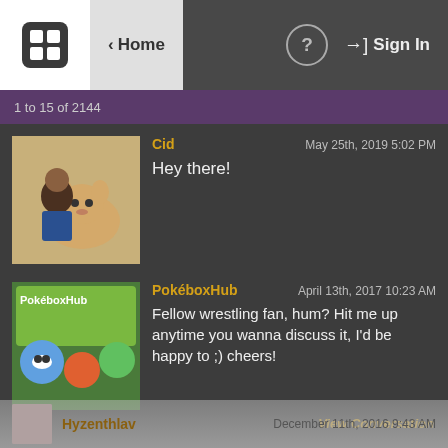Home | Sign In
1 to 15 of 2144
Cid  May 25th, 2019 5:02 PM
Hey there!
PokéboxHub  April 13th, 2017 10:23 AM
Fellow wrestling fan, hum? Hit me up anytime you wanna discuss it, I'd be happy to ;) cheers!
View Conversation
Desinishon  December 12th, 2016 6:44 PM
ς´•●•`? Bewear wants you to hug all of your friends! Send this to 5 friends to give them a big hug! ς´•●•`?

(:
View Conversation
Hyzenthlav  December 11th, 2016 9:43 AM